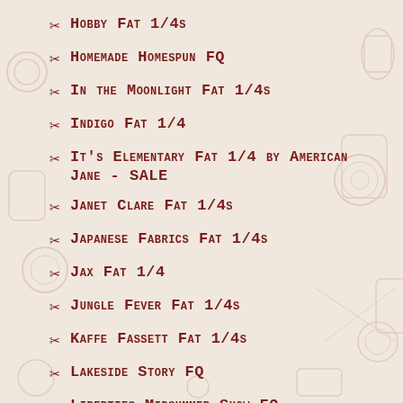Hobby Fat 1/4s
Homemade Homespun FQ
In the Moonlight Fat 1/4s
Indigo Fat 1/4
It's Elementary Fat 1/4 by American Jane - SALE
Janet Clare Fat 1/4s
Japanese Fabrics Fat 1/4s
Jax Fat 1/4
Jungle Fever Fat 1/4s
Kaffe Fassett Fat 1/4s
Lakeside Story FQ
Liberties Midsummer Show FQ